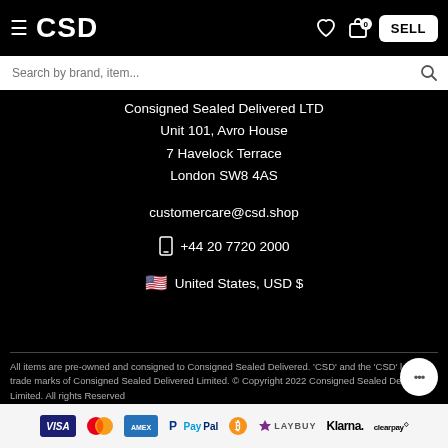CSD
Search by brand, item...
Consigned Sealed Delivered LTD
Unit 101, Avro House
7 Havelock Terrace
London SW8 4AS
customercare@csd.shop
+44 20 7720 2000
United States, USD $
All items are pre-owned and consigned to Consigned Sealed Delivered. 'CSD' and the 'CSD' logo are trade marks of Consigned Sealed Delivered Limited. © Copyright 2022 Consigned Sealed Delivered Limited. All rights Reserved
[Figure (logo): Payment method logos: VISA, Mastercard, Amex, PayPal, Bitcoin, Laybuy, Klarna, Clearpay]